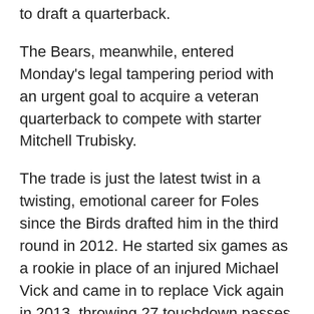to draft a quarterback.
The Bears, meanwhile, entered Monday's legal tampering period with an urgent goal to acquire a veteran quarterback to compete with starter Mitchell Trubisky.
The trade is just the latest twist in a twisting, emotional career for Foles since the Birds drafted him in the third round in 2012. He started six games as a rookie in place of an injured Michael Vick and came in to replace Vick again in 2013, throwing 27 touchdown passes and only two interceptions in 13 starts. Foles led the Eagles to the playoffs and was the offensive MVP of the Pro Bowl.